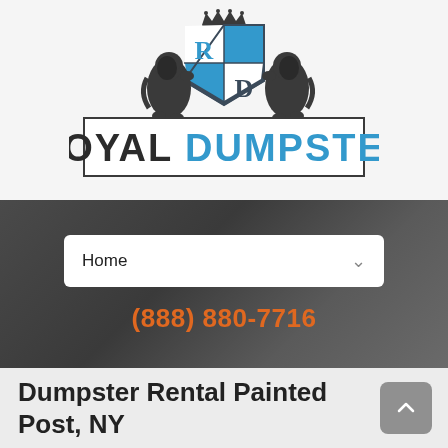[Figure (logo): Royal Dumpster logo with heraldic crest (two lions flanking a shield with R and D letters, crown on top) and the text ROYAL DUMPSTER below]
Home
(888) 880-7716
Dumpster Rental Painted Post, NY